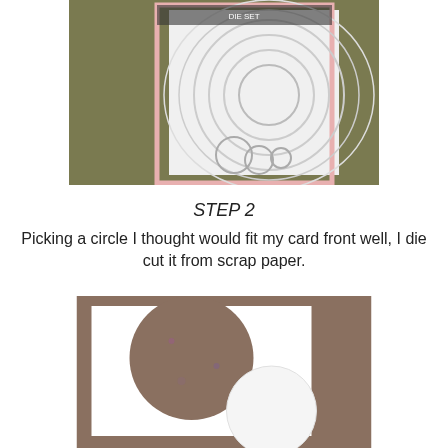[Figure (photo): Photo of circle die cuts in various sizes, arranged on a white card with a pink border, on a green background. Shows nested circle cuts and small ring shapes.]
STEP 2
Picking a circle I thought would fit my card front well, I die cut it from scrap paper.
[Figure (photo): Photo showing a white square piece of paper with a large circle cut out, revealing a brownish mottled surface beneath. A white circle die cut piece sits in the lower right corner on top.]